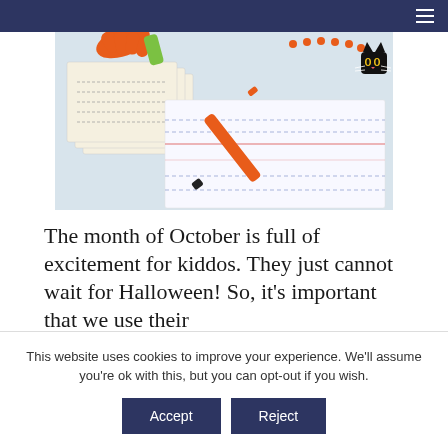[Figure (photo): Overhead view of Halloween-themed school supplies on a light blue background: orange glove, green object, index cards with lines, orange marker/pen, black cat pendant necklace with orange beads]
The month of October is full of excitement for kiddos. They just cannot wait for Halloween! So, it's important that we use their
This website uses cookies to improve your experience. We'll assume you're ok with this, but you can opt-out if you wish.
Accept
Reject